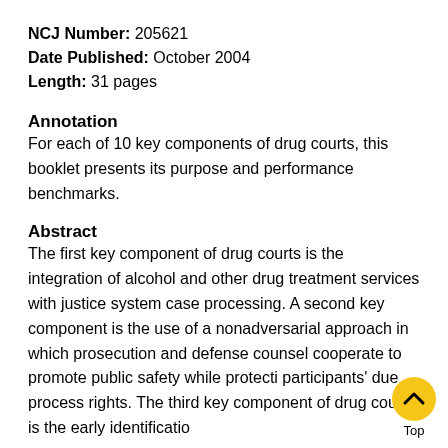NCJ Number: 205621
Date Published: October 2004
Length: 31 pages
Annotation
For each of 10 key components of drug courts, this booklet presents its purpose and performance benchmarks.
Abstract
The first key component of drug courts is the integration of alcohol and other drug treatment services with justice system case processing. A second key component is the use of a nonadversarial approach in which prosecution and defense counsel cooperate to promote public safety while protecting participants' due process rights. The third key component of drug courts is the early identification